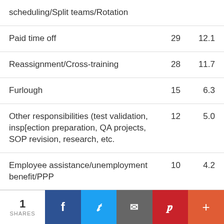|  |  |  |
| --- | --- | --- |
| scheduling/Split teams/Rotation |  |  |
| Paid time off | 29 | 12.1 |
| Reassignment/Cross-training | 28 | 11.7 |
| Furlough | 15 | 6.3 |
| Other responsibilities (test validation, insp[ection preparation, QA projects, SOP revision, research, etc. | 12 | 5.0 |
| Employee assistance/unemployment benefit/PPP | 10 | 4.2 |